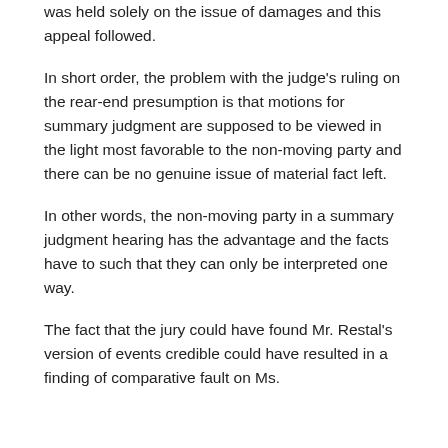was held solely on the issue of damages and this appeal followed.
In short order, the problem with the judge's ruling on the rear-end presumption is that motions for summary judgment are supposed to be viewed in the light most favorable to the non-moving party and there can be no genuine issue of material fact left.
In other words, the non-moving party in a summary judgment hearing has the advantage and the facts have to such that they can only be interpreted one way.
The fact that the jury could have found Mr. Restal's version of events credible could have resulted in a finding of comparative fault on Ms.